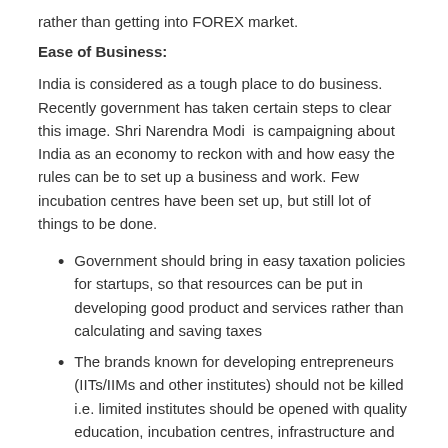rather than getting into FOREX market.
Ease of Business:
India is considered as a tough place to do business. Recently government has taken certain steps to clear this image. Shri Narendra Modi  is campaigning about India as an economy to reckon with and how easy the rules can be to set up a business and work. Few incubation centres have been set up, but still lot of things to be done.
Government should bring in easy taxation policies for startups, so that resources can be put in developing good product and services rather than calculating and saving taxes
The brands known for developing entrepreneurs (IITs/IIMs and other institutes) should not be killed i.e. limited institutes should be opened with quality education, incubation centres, infrastructure and